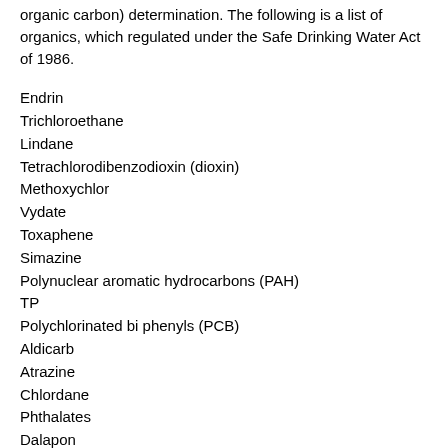organic carbon) determination. The following is a list of organics, which regulated under the Safe Drinking Water Act of 1986.
Endrin
Trichloroethane
Lindane
Tetrachlorodibenzodioxin (dioxin)
Methoxychlor
Vydate
Toxaphene
Simazine
Polynuclear aromatic hydrocarbons (PAH)
TP
Polychlorinated bi phenyls (PCB)
Aldicarb
Atrazine
Chlordane
Phthalates
Dalapon
Acrylamide
Diquat
Dibromochloropropane (DBCP)
Endothall
Dichloropropane